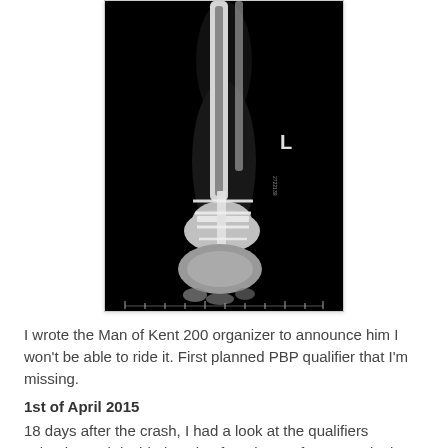[Figure (photo): X-ray image of a lower leg/ankle showing a bone fracture with surgical fixation hardware (metal plate and screws) at the ankle joint. The letter 'L' is visible in the upper right area of the image, indicating left side. Scale markers visible at the bottom.]
I wrote the Man of Kent 200 organizer to announce him I won't be able to ride it. First planned PBP qualifier that I'm missing.
1st of April 2015
18 days after the crash, I had a look at the qualifiers calendar and decided to sign for a brevet for every single